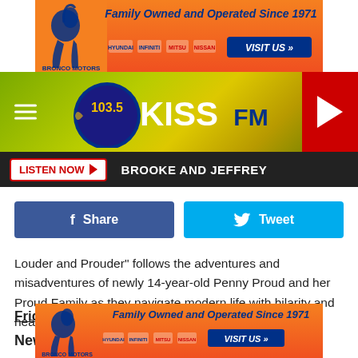[Figure (infographic): Bronco Motors advertisement banner — Family Owned and Operated Since 1971, with Hyundai, Infiniti, Mitsubishi, Nissan logos and VISIT US button]
[Figure (logo): 103.5 KISS FM radio station header with hamburger menu, yellow-green gradient background, and red play button]
[Figure (infographic): Dark bar with LISTEN NOW button and BROOKE AND JEFFREY text]
[Figure (infographic): Facebook Share button (dark blue) and Twitter Tweet button (light blue)]
Louder and Prouder" follows the adventures and misadventures of newly 14-year-old Penny Proud and her Proud Family as they navigate modern life with hilarity and heart.
Friday, February 25
New Library Titles
[Figure (infographic): Bronco Motors advertisement banner (bottom) — Family Owned and Operated Since 1971]